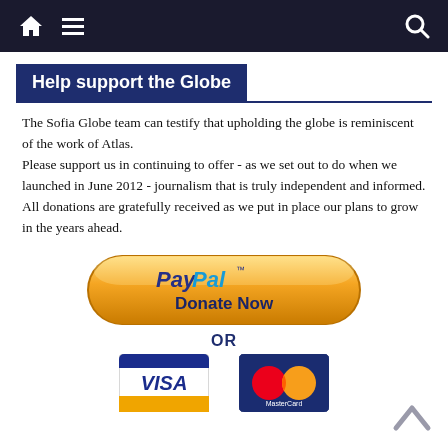Navigation bar with home, menu, and search icons
Help support the Globe
The Sofia Globe team can testify that upholding the globe is reminiscent of the work of Atlas.
Please support us in continuing to offer - as we set out to do when we launched in June 2012 - journalism that is truly independent and informed. All donations are gratefully received as we put in place our plans to grow in the years ahead.
[Figure (illustration): PayPal Donate Now button - orange rounded button with PayPal logo and Donate Now text]
OR
[Figure (illustration): Visa and MasterCard logos side by side]